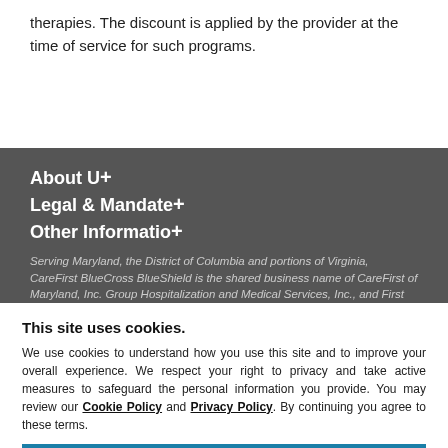therapies. The discount is applied by the provider at the time of service for such programs.
About Us +
Legal & Mandates +
Other Information +
Serving Maryland, the District of Columbia and portions of Virginia, CareFirst BlueCross BlueShield is the shared business name of CareFirst of Maryland, Inc. Group Hospitalization and Medical Services, Inc., and First Care, Inc. CareFirst BlueCross BlueShield Medicare Advantage is the shared business name of CareFirst Advantage, Inc., CareFirst Advantage PPO, Inc. and CareFirst Advantage DSNP, Inc. CareFirst BlueCross BlueShield Community Health Plan is the business name of CareFirst Community Partners, Inc. CareFirst BlueCross BlueShield Community Health Plan (HMO) and CareFirst BlueCross BlueShield Community Health Plan Medicare Advantage (HMO) are the business names of Trusted Health Plan (District of Columbia), Inc. All other plans and products are the business names of CareFirst BlueCross BlueShield (excepting CareFirst MedPlus).
This site uses cookies.
We use cookies to understand how you use this site and to improve your overall experience. We respect your right to privacy and take active measures to safeguard the personal information you provide. You may review our Cookie Policy and Privacy Policy. By continuing you agree to these terms.
OK